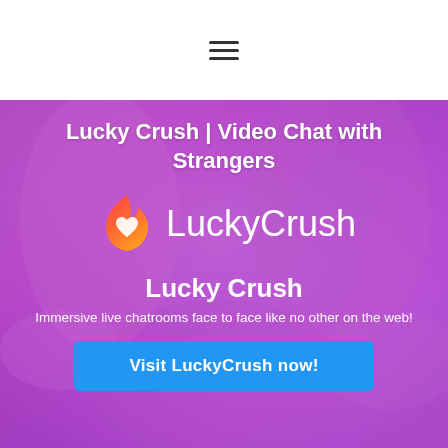☰
Lucky Crush | Video Chat with Strangers
[Figure (logo): LuckyCrush logo: flame/heart icon in red-orange gradient with text LuckyCrush in white]
Lucky Crush
Immersive live chatrooms face to face like no other on the web!
Visit LuckyCrush now!